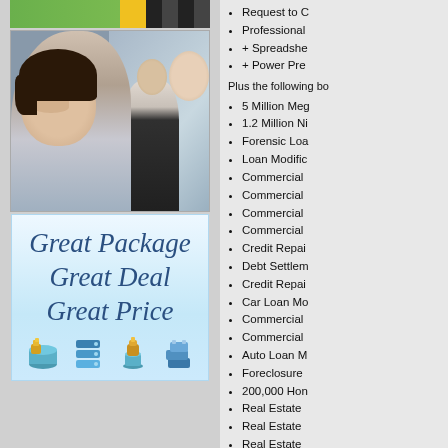[Figure (photo): Top banner with green and yellow/dark gradient bar]
[Figure (photo): Photo of smiling businesswoman in foreground with two colleagues in background]
[Figure (illustration): Light blue promotional box with text 'Great Package Great Deal Great Price' and four icons at bottom]
Request to C
Professional
+ Spreadshe
+ Power Pre
Plus the following bo
5 Million Meg
1.2 Million Ni
Forensic Loa
Loan Modific
Commercial
Commercial
Commercial
Commercial
Credit Repai
Debt Settlem
Credit Repai
Car Loan Mo
Commercial
Commercial
Auto Loan M
Foreclosure
200,000 Hon
Real Estate
Real Estate
Real Estate
Real Estate/R
Real Estate
Complete Le
Customizable
Deluxe Fund